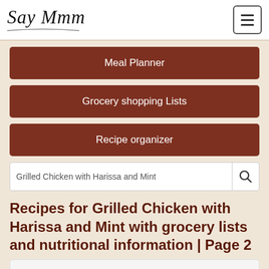Say Mmm
Meal Planner
Grocery shopping Lists
Recipe organizer
Grilled Chicken with Harissa and Mint
Recipes for Grilled Chicken with Harissa and Mint with grocery lists and nutritional information | Page 2